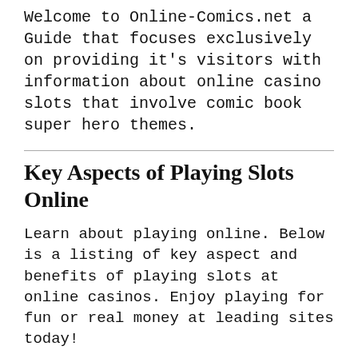Welcome to Online-Comics.net a Guide that focuses exclusively on providing it's visitors with information about online casino slots that involve comic book super hero themes.
Key Aspects of Playing Slots Online
Learn about playing online. Below is a listing of key aspect and benefits of playing slots at online casinos. Enjoy playing for fun or real money at leading sites today!
Enjoy playing comic themed online slots games such as Electra, Ghost Rider, Hellboy, The Hulk, Iron Man and other popular comic book titles!
Play from the convenience of your home or